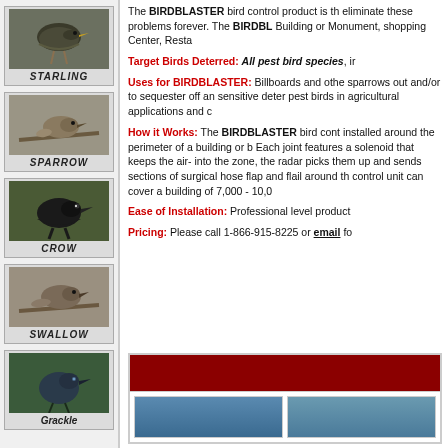[Figure (photo): Photo of a Starling bird on a branch, labeled STARLING]
[Figure (photo): Photo of a Sparrow bird on a wire, labeled SPARROW]
[Figure (photo): Photo of a Crow bird on grass, labeled CROW]
[Figure (photo): Photo of a Swallow bird on a wire, labeled SWALLOW]
[Figure (photo): Photo of a Grackle bird on grass, labeled Grackle]
The BIRDBLASTER bird control product is th eliminate these problems forever. The BIRDBL Building or Monument, shopping Center, Resta
Target Birds Deterred: All pest bird species, ir
Uses for BIRDBLASTER: Billboards and othe sparrows out and/or to sequester off an sensitive deter pest birds in agricultural applications and c
How it Works: The BIRDBLASTER bird cont installed around the perimeter of a building or b Each joint features a solenoid that keeps the air- into the zone, the radar picks them up and sends sections of surgical hose flap and flail around th control unit can cover a building of 7,000 - 10,0
Ease of Installation: Professional level product
Pricing: Please call 1-866-915-8225 or email fo
[Figure (photo): Bottom section with dark red banner and two blue bird control product images]